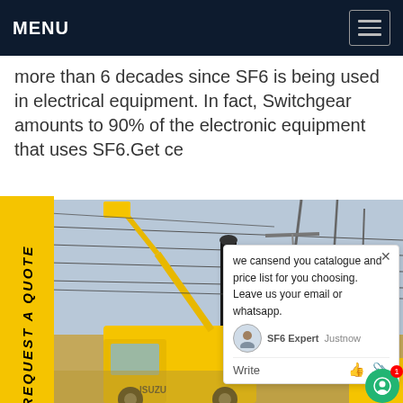MENU
more than 6 decades since SF6 is being used in electrical equipment. In fact, Switchgear amounts to 90% of the electronic equipment that uses SF6.Get ce
[Figure (photo): Electrical substation with overhead transmission lines and a yellow ISUZU cherry-picker truck in the foreground; large SF6 switchgear equipment visible]
REQUEST A QUOTE
we cansend you catalogue and price list for you choosing.
Leave us your email or whatsapp.
SF6 Expert  Justnow
Write